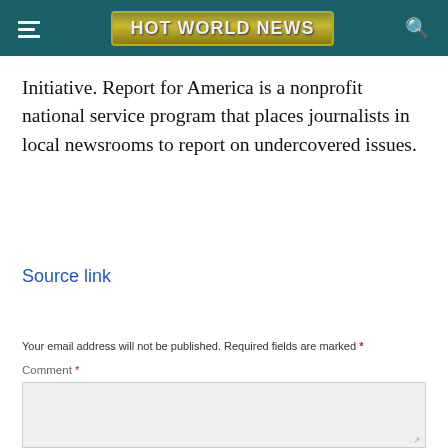HOT WORLD NEWS
Initiative. Report for America is a nonprofit national service program that places journalists in local newsrooms to report on undercovered issues.
Source link
Your email address will not be published. Required fields are marked *
Comment *